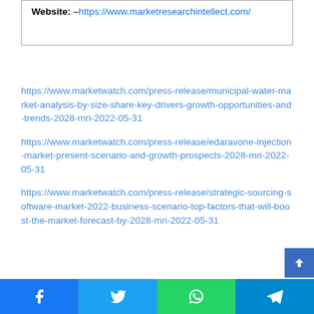Website: –https://www.marketresearchintellect.com/
https://www.marketwatch.com/press-release/municipal-water-market-analysis-by-size-share-key-drivers-growth-opportunities-and-trends-2028-mri-2022-05-31
https://www.marketwatch.com/press-release/edaravone-injection-market-present-scenario-and-growth-prospects-2028-mri-2022-05-31
https://www.marketwatch.com/press-release/strategic-sourcing-software-market-2022-business-scenario-top-factors-that-will-boost-the-market-forecast-by-2028-mri-2022-05-31